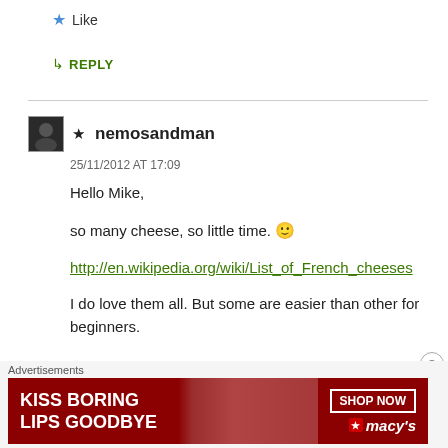★ Like
↳ REPLY
★ nemosandman
25/11/2012 AT 17:09

Hello Mike,

so many cheese, so little time. 🙂

http://en.wikipedia.org/wiki/List_of_French_cheeses

I do love them all. But some are easier than other for beginners.
[Figure (photo): Advertisement banner for Macy's: 'KISS BORING LIPS GOODBYE' with a SHOP NOW button and Macy's star logo]
Advertisements